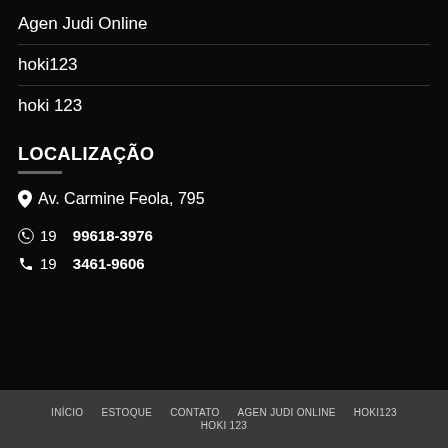Agen Judi Online
hoki123
hoki 123
LOCALIZAÇÃO
Av. Carmine Feola, 795
19 99618-3976
19 3461-9606
INÍCIO   ESTOQUE   CONTATO   AGEN JUDI ONLINE   HOKI123   HOKI 123